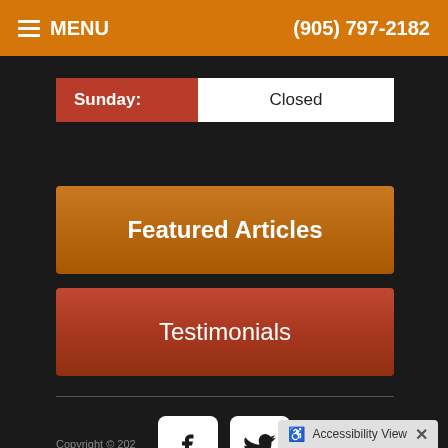MENU   (905) 797-2182
| Sunday: | Closed |
Featured Articles
Testimonials
[Figure (illustration): Social media icons: Facebook and Twitter, white square rounded buttons on dark background]
Accessibility View
Copyright © 202...